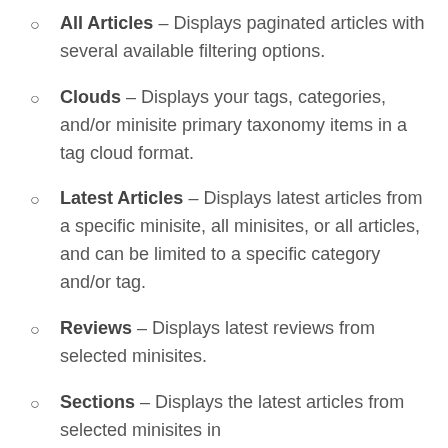All Articles – Displays paginated articles with several available filtering options.
Clouds – Displays your tags, categories, and/or minisite primary taxonomy items in a tag cloud format.
Latest Articles – Displays latest articles from a specific minisite, all minisites, or all articles, and can be limited to a specific category and/or tag.
Reviews – Displays latest reviews from selected minisites.
Sections – Displays the latest articles from selected minisites in